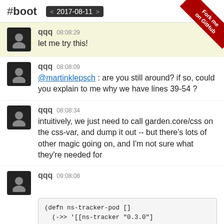#boot  < 2017-08-11 >
qqq 08:08:29
let me try this!
qqq 08:08:09
@martinklepsch : are you still around? if so, could you explain to me why we have lines 39-54 ?
qqq 08:08:34
intuitively, we just need to call garden.core/css on the css-var, and dump it out -- but there's lots of other magic going on, and I'm not sure what they're needed for
qqq 09:08:08
(defn ns-tracker-pod []
  (->> '[[ns-tracker "0.3.0"]
[org.clojure/tools.namespace "0.2.11"]]
        (assoc (boot/get-env) :dependencies)
        pod/make-pod))